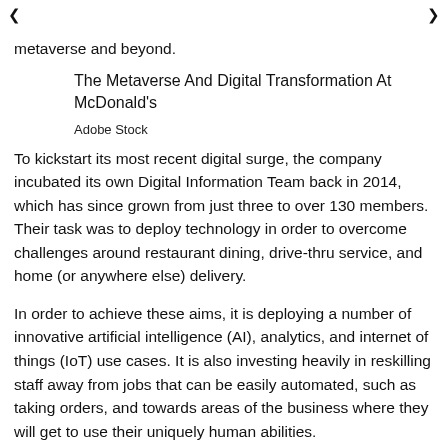❮  ❯
metaverse and beyond.
The Metaverse And Digital Transformation At McDonald's
Adobe Stock
To kickstart its most recent digital surge, the company incubated its own Digital Information Team back in 2014, which has since grown from just three to over 130 members. Their task was to deploy technology in order to overcome challenges around restaurant dining, drive-thru service, and home (or anywhere else) delivery.
In order to achieve these aims, it is deploying a number of innovative artificial intelligence (AI), analytics, and internet of things (IoT) use cases. It is also investing heavily in reskilling staff away from jobs that can be easily automated, such as taking orders, and towards areas of the business where they will get to use their uniquely human abilities.